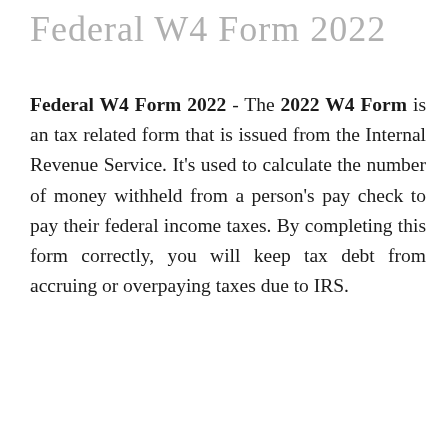Federal W4 Form 2022
Federal W4 Form 2022 - The 2022 W4 Form is an tax related form that is issued from the Internal Revenue Service. It's used to calculate the number of money withheld from a person's pay check to pay their federal income taxes. By completing this form correctly, you will keep tax debt from accruing or overpaying taxes due to IRS.